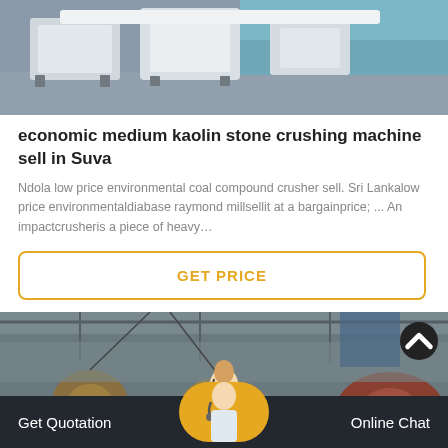[Figure (photo): Industrial machinery with white metal frames and supports on a factory floor.]
economic medium kaolin stone crushing machine sell in Suva
Ndola low price environmental coal compound crusher sell. Sri Lankalow price environmentaldiabase raymond millsellit at a bargainprice; ... An impactcrusheris a piece of heavy…
GET PRICE
[Figure (photo): Industrial factory interior with large cable spools/drums and overhead machinery.]
Get Quotation   Online Chat